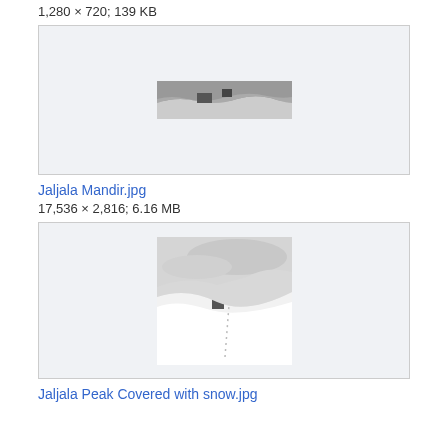1,280 × 720; 139 KB
[Figure (photo): Panoramic black and white thumbnail of a mountain/snow landscape]
Jaljala Mandir.jpg
17,536 × 2,816; 6.16 MB
[Figure (photo): Black and white photo of Jaljala Peak covered with snow, showing snowy slopes with footprints and cloudy sky]
Jaljala Peak Covered with snow.jpg